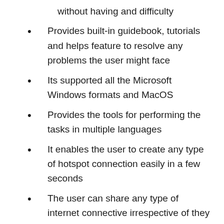without having and difficulty
Provides built-in guidebook, tutorials and helps feature to resolve any problems the user might face
Its supported all the Microsoft Windows formats and MacOS
Provides the tools for performing the tasks in multiple languages
It enables the user to create any type of hotspot connection easily in a few seconds
The user can share any type of internet connective irrespective of they are wired or 3G or 4G connection
If there are any device restriction that does not allow the network hotspot